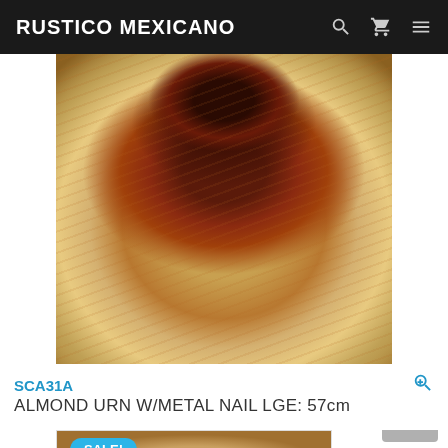RUSTICO MEXICANO
[Figure (photo): Large ceramic/stone almond-shaped urn with dark brown glazed concave top and tan/brown marbled striped body, photographed on a gray surface]
SCA31A
ALMOND URN W/METAL NAIL LGE: 57cm
[Figure (photo): Partial view of another product at the bottom of the page with a SALE! badge]
SALE!